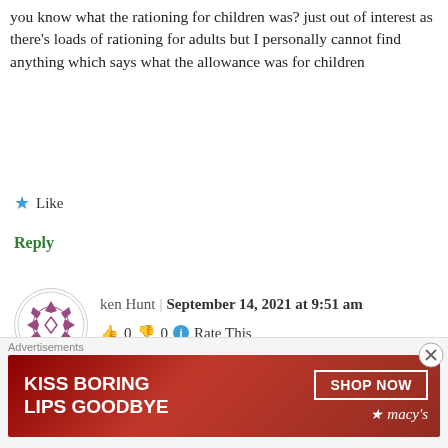you know what the rationing for children was? just out of interest as there's loads of rationing for adults but I personally cannot find anything which says what the allowance was for children
★ Like
Reply
[Figure (illustration): Avatar circle with decorative purple/mauve geometric floral pattern (four arrow-like shapes pointing inward around a central diamond)]
ken Hunt | September 14, 2021 at 9:51 am
👍 0 👎 0 ℹ Rate This
The rationing for children was no different than that for adults.
★ Like
[Figure (illustration): Macy's advertisement banner: 'KISS BORING LIPS GOODBYE' with SHOP NOW button and Macy's star logo on dark red background]